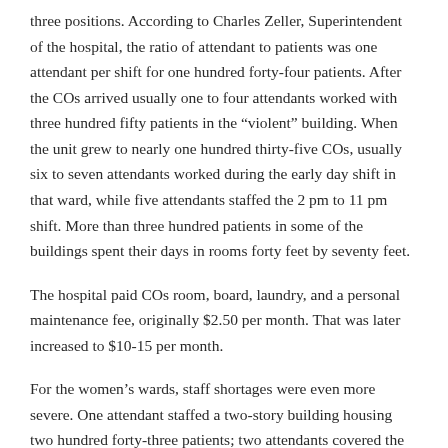three positions. According to Charles Zeller, Superintendent of the hospital, the ratio of attendant to patients was one attendant per shift for one hundred forty-four patients. After the COs arrived usually one to four attendants worked with three hundred fifty patients in the “violent” building. When the unit grew to nearly one hundred thirty-five COs, usually six to seven attendants worked during the early day shift in that ward, while five attendants staffed the 2 pm to 11 pm shift. More than three hundred patients in some of the buildings spent their days in rooms forty feet by seventy feet.
The hospital paid COs room, board, laundry, and a personal maintenance fee, originally $2.50 per month. That was later increased to $10-15 per month.
For the women’s wards, staff shortages were even more severe. One attendant staffed a two-story building housing two hundred forty-three patients; two attendants covered the